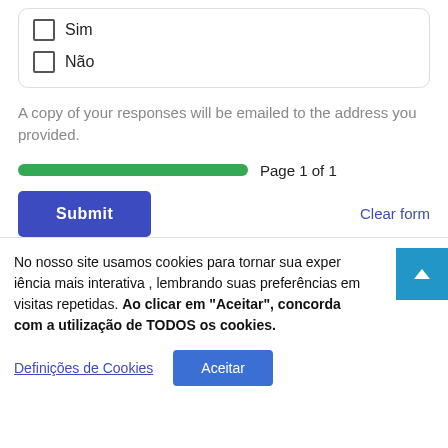Sim
Não
A copy of your responses will be emailed to the address you provided.
Page 1 of 1
Submit
Clear form
No nosso site usamos cookies para tornar sua experiência mais interativa , lembrando suas preferências em visitas repetidas. Ao clicar em "Aceitar", concorda com a utilização de TODOS os cookies.
Definições de Cookies
Aceitar